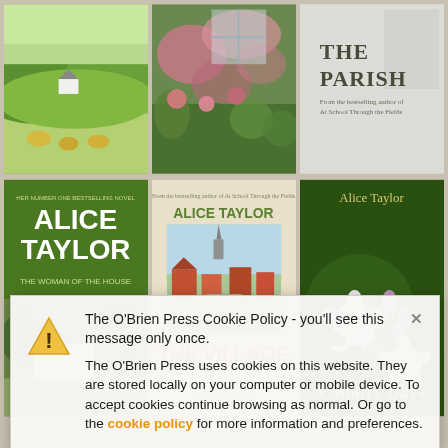[Figure (screenshot): Grid of Alice Taylor book covers: top row shows countryside landscape, flowers/garden photo, and 'The Parish' book cover. Bottom row shows 'Alice Taylor - The Woman of the House' (green cover), landscape photo, 'Alice Taylor - The Village' (cream cover with village street), and 'Alice Taylor - Country Days' (dark green with apple blossoms).]
The O'Brien Press Cookie Policy - you'll see this message only once.

The O'Brien Press uses cookies on this website. They are stored locally on your computer or mobile device. To accept cookies continue browsing as normal. Or go to the cookie policy for more information and preferences.